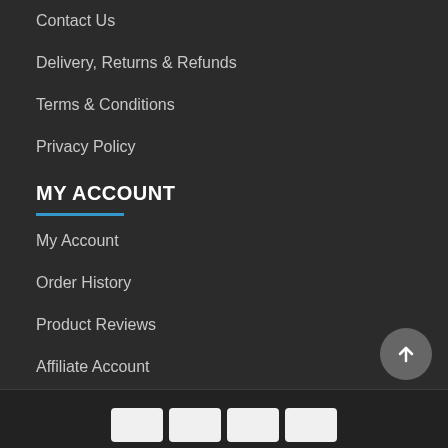Contact Us
Delivery, Returns & Refunds
Terms & Conditions
Privacy Policy
MY ACCOUNT
My Account
Order History
Product Reviews
Affiliate Account
[Figure (other): Scroll-to-top button (circular grey arrow icon)]
[Figure (other): Payment method icons (4 card logos at bottom)]